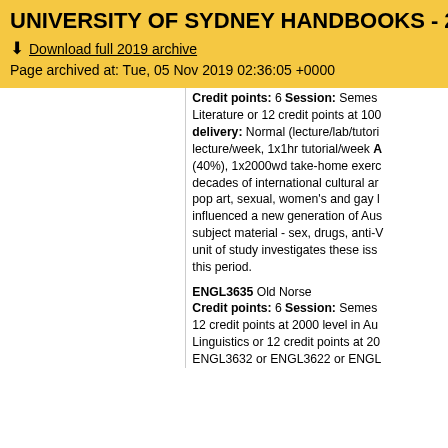UNIVERSITY OF SYDNEY HANDBOOKS - 2019
Download full 2019 archive
Page archived at: Tue, 05 Nov 2019 02:36:05 +0000
Credit points: 6 Session: Semester Literature or 12 credit points at 100 delivery: Normal (lecture/lab/tutorial lecture/week, 1x1hr tutorial/week A (40%), 1x2000wd take-home exerc decades of international cultural ar pop art, sexual, women's and gay l influenced a new generation of Aus subject material - sex, drugs, anti-V unit of study investigates these iss this period.
ENGL3635 Old Norse Credit points: 6 Session: Semester 12 credit points at 2000 level in Au Linguistics or 12 credit points at 20 ENGL3632 or ENGL3622 or ENGL day Classes: 1x1hr lecture/week, 1x1hr exam (30%) Description: O Scandinavia which was spoken by Norse literature presents a rich va sagas. This unit extends students'